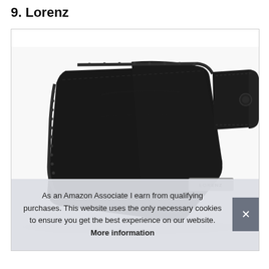9. Lorenz
[Figure (photo): A black leather Lorenz zip-around wallet/purse with a snap clasp strap on the right side, photographed at an angle on a white background. The wallet has visible zipper edges and a small metal LORENZ brand badge on the lower right corner.]
As an Amazon Associate I earn from qualifying purchases. This website uses the only necessary cookies to ensure you get the best experience on our website. More information